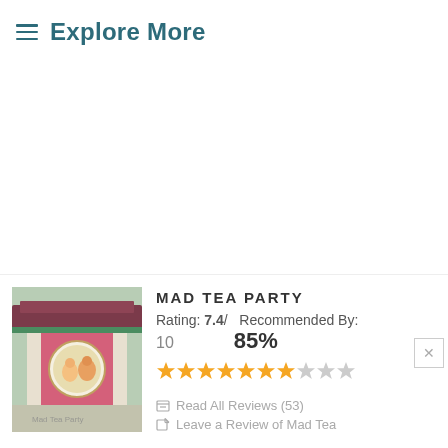≡  Explore More
[Figure (photo): Photo of the Mad Tea Party ride entrance sign — a colorful pagoda-style structure in pink and green with a circular illustration showing teacup characters]
MAD TEA PARTY
Rating: 7.4/  Recommended By:
10   85%
[Figure (other): Star rating display showing approximately 7.4 out of 10 stars — 7 full gold stars, 1 partial gold star, and 2 gray stars]
Read All Reviews (53)
Leave a Review of Mad Tea